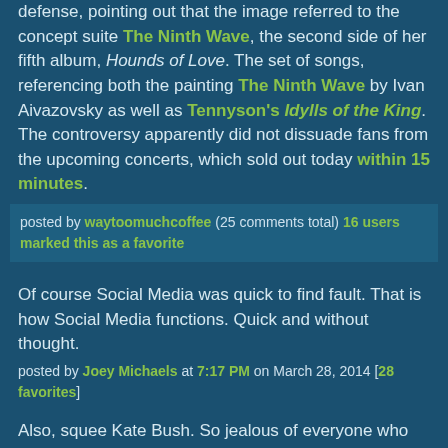defense, pointing out that the image referred to the concept suite The Ninth Wave, the second side of her fifth album, Hounds of Love. The set of songs, referencing both the painting The Ninth Wave by Ivan Aivazovsky as well as Tennyson's Idylls of the King. The controversy apparently did not dissuade fans from the upcoming concerts, which sold out today within 15 minutes.
posted by waytoomuchcoffee (25 comments total) 16 users marked this as a favorite
Of course Social Media was quick to find fault. That is how Social Media functions. Quick and without thought.
posted by Joey Michaels at 7:17 PM on March 28, 2014 [28 favorites]
Also, squee Kate Bush. So jealous of everyone who gets to see her in concert.